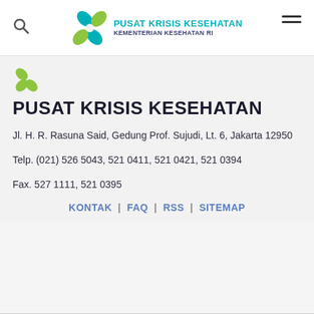[Figure (logo): Pusat Krisis Kesehatan / Kementerian Kesehatan RI logo with teal and green cross/leaf emblem]
[Figure (logo): Partial logo icon (green leaf shapes) above the organization title]
PUSAT KRISIS KESEHATAN
Jl. H. R. Rasuna Said, Gedung Prof. Sujudi, Lt. 6, Jakarta 12950
Telp. (021) 526 5043, 521 0411, 521 0421, 521 0394
Fax. 527 1111, 521 0395
KONTAK | FAQ | RSS | SITEMAP